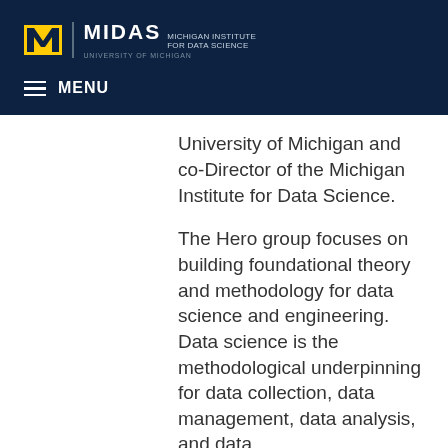[Figure (logo): MIDAS Michigan Institute for Data Science, University of Michigan logo with yellow M block letter on dark navy background]
≡ MENU
University of Michigan and co-Director of the Michigan Institute for Data Science.
The Hero group focuses on building foundational theory and methodology for data science and engineering. Data science is the methodological underpinning for data collection, data management, data analysis, and data